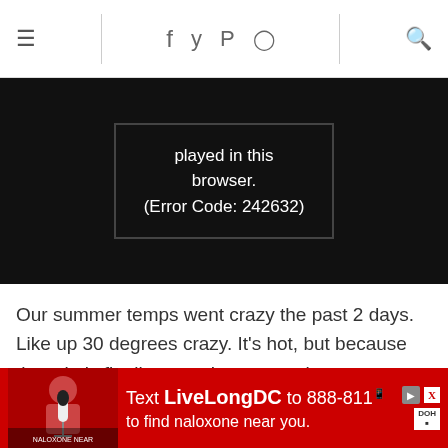☰   f  🐦  P  📷   🔍
[Figure (screenshot): Video player showing error message: 'played in this browser. (Error Code: 242632)' on black background]
Our summer temps went crazy the past 2 days. Like up 30 degrees crazy. It's hot, but because the rain is finally gone, I am not going to complain. I'm just going to keep drinking my mango basil smoothie to get me through these triple digits. Anyone else with me here? Just trying to help you out.
This huge basil plant I bought last week at the farmer
[Figure (screenshot): Advertisement banner: Text LiveLongDC to 888-811 to find naloxone near you. Red background with person holding microphone image on left and logos on right.]